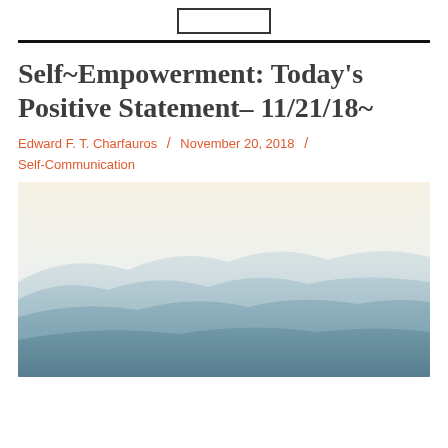Self~Empowerment: Today’s Positive Statement– 11/21/18~
Edward F. T. Charfauros / November 20, 2018 / Self-Communication
[Figure (photo): A serene misty mountain landscape with layered blue-grey ridges fading into a pale cream sky, evoking calm and self-empowerment.]